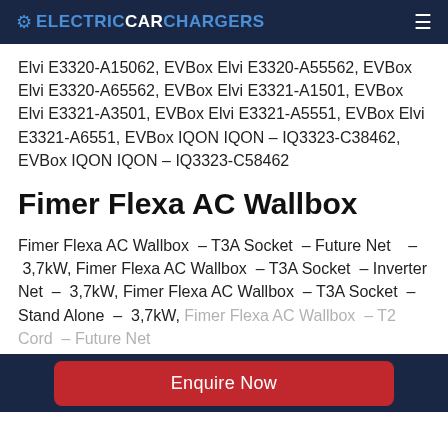ELECTRICCARCHARGERS
Elvi E3320-A15062, EVBox Elvi E3320-A55562, EVBox Elvi E3320-A65562, EVBox Elvi E3321-A1501, EVBox Elvi E3321-A3501, EVBox Elvi E3321-A5551, EVBox Elvi E3321-A6551, EVBox IQON IQON – IQ3323-C38462, EVBox IQON IQON – IQ3323-C58462
Fimer Flexa AC Wallbox
Fimer Flexa AC Wallbox  – T3A Socket  – Future Net    –  3,7kW, Fimer Flexa AC Wallbox  – T3A Socket  – Inverter Net  –  3,7kW, Fimer Flexa AC Wallbox  – T3A Socket  – Stand Alone  –  3,7kW, Fimer Flexa AC Wallbox  – T2 Cord  – Future Net